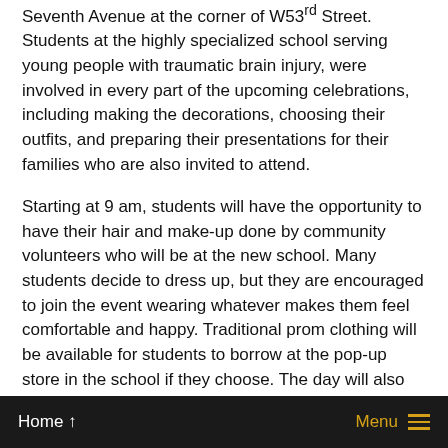Seventh Avenue at the corner of W53rd Street. Students at the highly specialized school serving young people with traumatic brain injury, were involved in every part of the upcoming celebrations, including making the decorations, choosing their outfits, and preparing their presentations for their families who are also invited to attend.
Starting at 9 am, students will have the opportunity to have their hair and make-up done by community volunteers who will be at the new school. Many students decide to dress up, but they are encouraged to join the event wearing whatever makes them feel comfortable and happy. Traditional prom clothing will be available for students to borrow at the pop-up store in the school if they choose. The day will also include games, a photo booth, music, and dancing. Each student's paraprofessional will stay with them during the day.
“The iHOPE Occupational Therapy Department is so
Home ↑   Menu